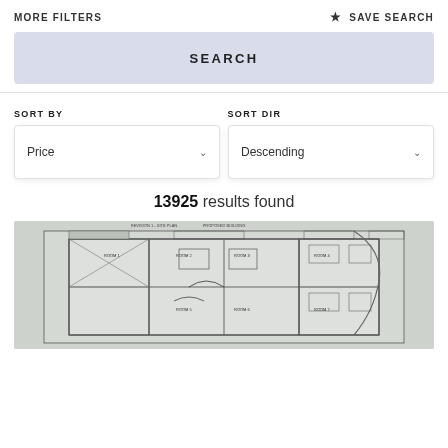MORE FILTERS    ★ SAVE SEARCH
SEARCH
SORT BY
SORT DIR
Price
Descending
13925 results found
[Figure (engineering-diagram): A partial view of an architectural floor plan/site plan showing building layout with rooms and outdoor areas, rendered in black lines on a light gray background.]